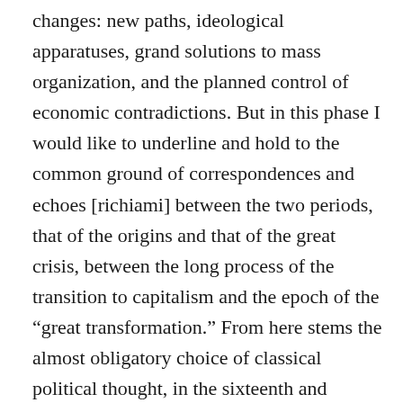changes: new paths, ideological apparatuses, grand solutions to mass organization, and the planned control of economic contradictions. But in this phase I would like to underline and hold to the common ground of correspondences and echoes [richiami] between the two periods, that of the origins and that of the great crisis, between the long process of the transition to capitalism and the epoch of the “great transformation.” From here stems the almost obligatory choice of classical political thought, in the sixteenth and seventeenth centuries, as the terrain of study of living problems and the encounter with the model of political revolution, as the intersection of conditions for the passage to capitalism. At the same time, the setting to work, in practice, of the relationship between the economic crisis and the political exit from the crisis. I do not want to claim that everything holds together,